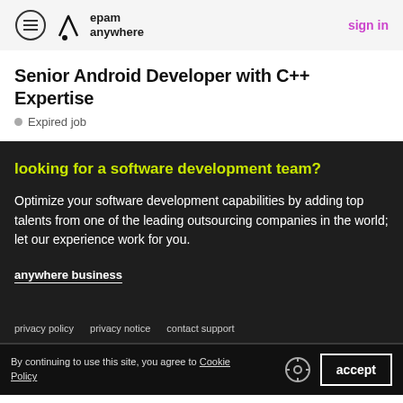epam anywhere | sign in
Senior Android Developer with C++ Expertise
Expired job
looking for a software development team?
Optimize your software development capabilities by adding top talents from one of the leading outsourcing companies in the world; let our experience work for you.
anywhere business
privacy policy   privacy notice   contact support
By continuing to use this site, you agree to Cookie Policy   accept